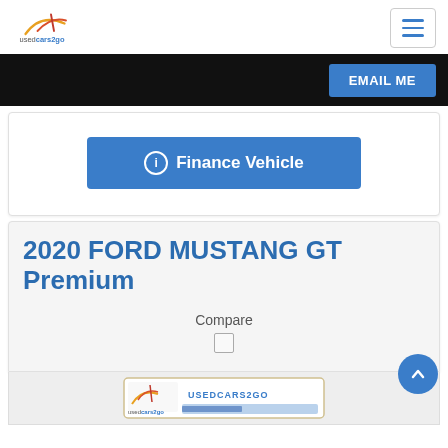usedcars2go — navigation header with logo and hamburger menu
EMAIL ME
Finance Vehicle
2020 FORD MUSTANG GT Premium
Compare
[Figure (logo): usedcars2go logo placeholder image strip at bottom of page]